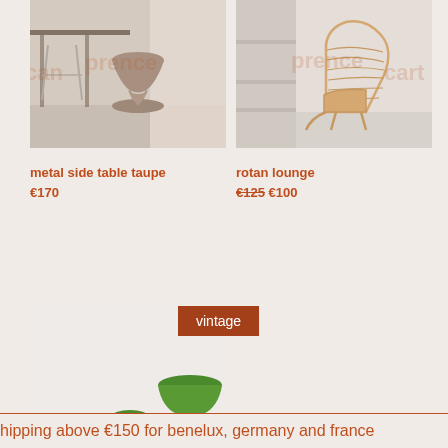[Figure (photo): Photo of a metal side table in taupe color with hourglass shape, in a room setting with a desk and curtains in background. Watermark text 'can' and 'prence' overlay.]
[Figure (photo): Photo of a rattan lounge chair with curved woven structure in natural/beige color on a light grey floor. Watermark text 'prence' and 'cart' overlay.]
metal side table taupe
€170
rotan lounge
€125 €100
[Figure (photo): Photo of green mushroom-shaped side tables in different sizes on a light background. Tagged with 'vintage' badge.]
vintage
hipping above €150 for benelux, germany and france